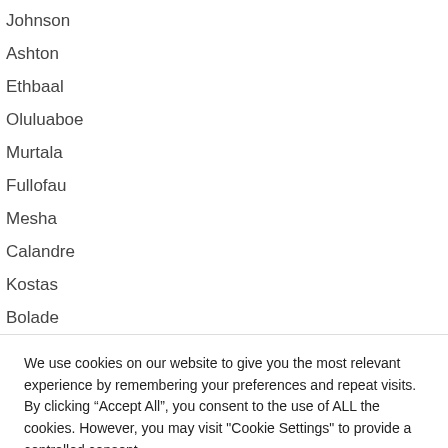Johnson
Ashton
Ethbaal
Oluluaboe
Murtala
Fullofau
Mesha
Calandre
Kostas
Bolade
We use cookies on our website to give you the most relevant experience by remembering your preferences and repeat visits. By clicking “Accept All”, you consent to the use of ALL the cookies. However, you may visit "Cookie Settings" to provide a controlled consent.